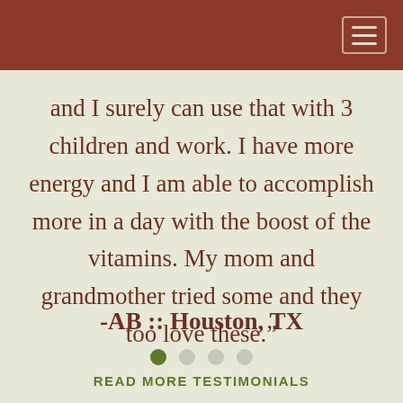and I surely can use that with 3 children and work. I have more energy and I am able to accomplish more in a day with the boost of the vitamins. My mom and grandmother tried some and they too love these."
-AB :: Houston, TX
[Figure (infographic): Carousel navigation dots: 4 dots, first one filled green, remaining three light grey]
READ MORE TESTIMONIALS